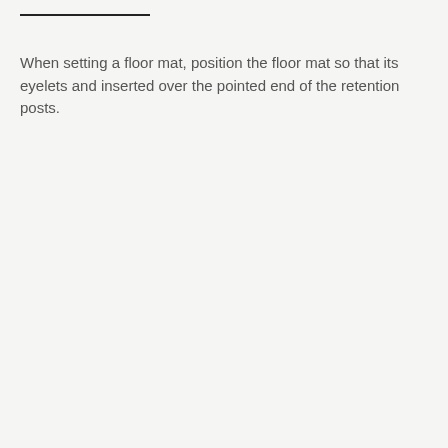When setting a floor mat, position the floor mat so that its eyelets and inserted over the pointed end of the retention posts.